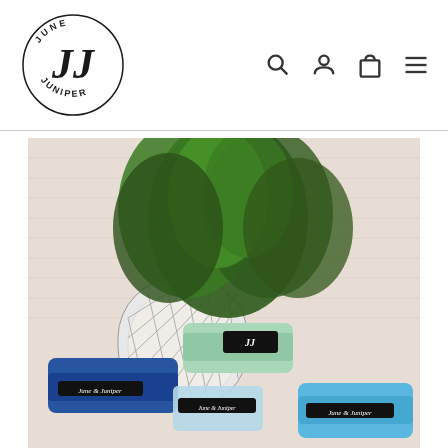[Figure (logo): June & Juniper circular logo with JJ monogram script lettering inside a circle, text 'JUNE' at top and 'JUNIPER' at bottom]
[Figure (illustration): Navigation icons: search magnifier, user/account person, shopping bag/cart, and hamburger menu lines]
[Figure (photo): Product photo showing three June & Juniper branded resistance bands in blue, light blue/mint, and turquoise colors arranged in front of a decorative patterned planter pot with a green tropical plant against a brick wall background]